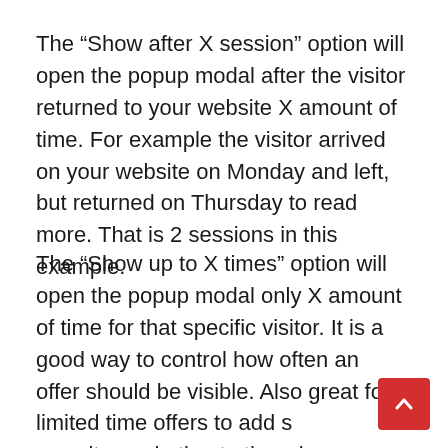The “Show after X session” option will open the popup modal after the visitor returned to your website X amount of time. For example the visitor arrived on your website on Monday and left, but returned on Thursday to read more. That is 2 sessions in this example.
The “Show up to X times” option will open the popup modal only X amount of time for that specific visitor. It is a good way to control how often an offer should be visible. Also great for limited time offers to add scarcity marketing to the mix.